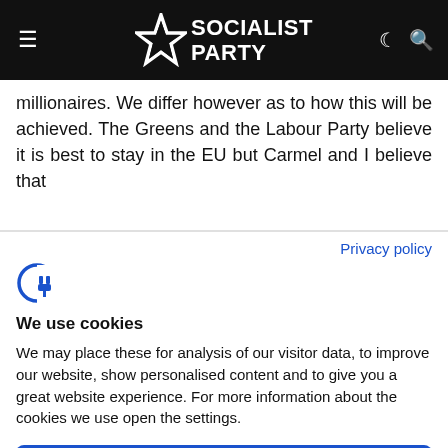Socialist Party
millionaires. We differ however as to how this will be achieved. The Greens and the Labour Party believe it is best to stay in the EU but Carmel and I believe that
Privacy policy
[Figure (logo): Cookiebot logo icon - blue C with electrical plug symbol]
We use cookies
We may place these for analysis of our visitor data, to improve our website, show personalised content and to give you a great website experience. For more information about the cookies we use open the settings.
Accept all
Deny
No, adjust